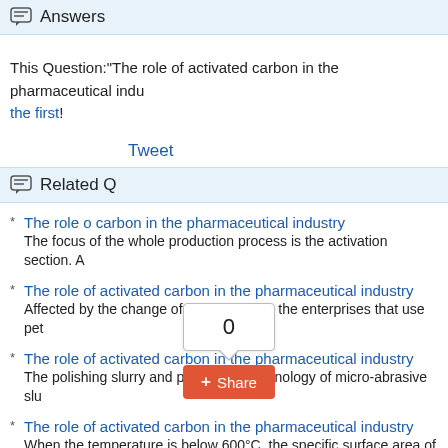Answers
This Question:"The role of activated carbon in the pharmaceutical industry... the first!
Tweet
Related Q...
The role of activated carbon in the pharmaceutical industry
The focus of the whole production process is the activation section. A
The role of activated carbon in the pharmaceutical industry
Affected by the change of energy prices, the enterprises that use pet
The role of activated carbon in the pharmaceutical industry
The polishing slurry and processing technology of micro-abrasive slu
The role of activated carbon in the pharmaceutical industry
When the temperature is below 600°C, the specific surface area of ca